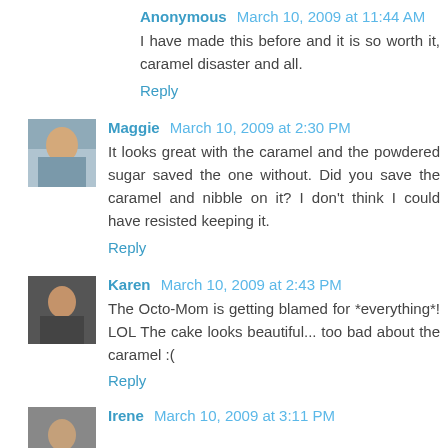Anonymous March 10, 2009 at 11:44 AM
I have made this before and it is so worth it, caramel disaster and all.
Reply
Maggie March 10, 2009 at 2:30 PM
It looks great with the caramel and the powdered sugar saved the one without. Did you save the caramel and nibble on it? I don't think I could have resisted keeping it.
Reply
Karen March 10, 2009 at 2:43 PM
The Octo-Mom is getting blamed for *everything*! LOL The cake looks beautiful... too bad about the caramel :(
Reply
Irene March 10, 2009 at 3:11 PM